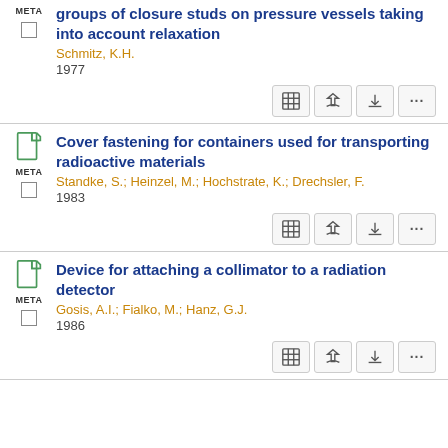groups of closure studs on pressure vessels taking into account relaxation
Schmitz, K.H.
1977
Cover fastening for containers used for transporting radioactive materials
Standke, S.; Heinzel, M.; Hochstrate, K.; Drechsler, F.
1983
Device for attaching a collimator to a radiation detector
Gosis, A.I.; Fialko, M.; Hanz, G.J.
1986